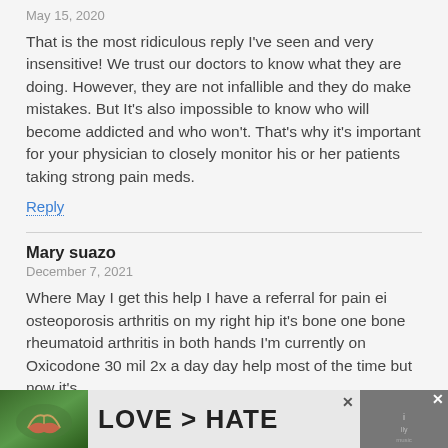May 15, 2020
That is the most ridiculous reply I've seen and very insensitive! We trust our doctors to know what they are doing. However, they are not infallible and they do make mistakes. But It's also impossible to know who will become addicted and who won't. That's why it's important for your physician to closely monitor his or her patients taking strong pain meds.
Reply
Mary suazo
December 7, 2021
Where May I get this help I have a referral for pain ei osteoporosis arthritis on my right hip it's bone one bone rheumatoid arthritis in both hands I'm currently on Oxicodone 30 mil 2x a day day help most of the time but now it's
[Figure (infographic): Advertisement banner at bottom: 'LOVE > HATE' text with heart-hands photo on left and a secondary ad on right with X close buttons]